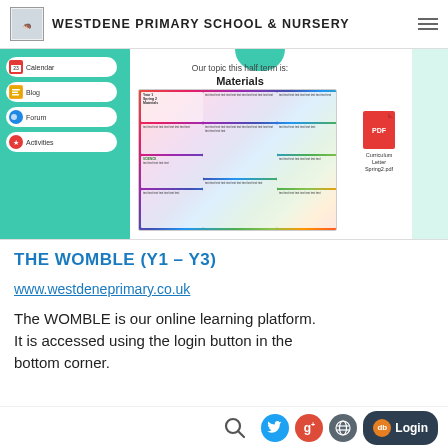WESTDENE PRIMARY SCHOOL & NURSERY
[Figure (screenshot): Screenshot of a school website (Westdene Primary) showing a teal sidebar with Calendar, Blog, Forum, Activities menu items, and a main panel with 'Our topic this half term is: Materials' heading, a colourful curriculum overview document, and a Curriculum Letter Spring2.pdf link.]
THE WOMBLE (Y1 – Y3)
www.westdeneprimary.co.uk
The WOMBLE is our online learning platform. It is accessed using the login button in the bottom corner.